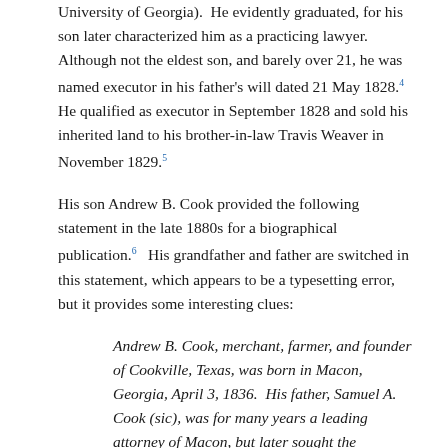University of Georgia). He evidently graduated, for his son later characterized him as a practicing lawyer. Although not the eldest son, and barely over 21, he was named executor in his father's will dated 21 May 1828.4 He qualified as executor in September 1828 and sold his inherited land to his brother-in-law Travis Weaver in November 1829.5
His son Andrew B. Cook provided the following statement in the late 1880s for a biographical publication.6 His grandfather and father are switched in this statement, which appears to be a typesetting error, but it provides some interesting clues:
Andrew B. Cook, merchant, farmer, and founder of Cookville, Texas, was born in Macon, Georgia, April 3, 1836. His father, Samuel A. Cook (sic), was for many years a leading attorney of Macon, but later sought the retirement of the farm, settling in Jones County; still later he became a Primitive Baptist minister, was a pillar in that church, and continued to preach its doctrine until his death. He married Elizabeth, daughter of Robert Ivey, a native of South Carolina, eight children being the result of